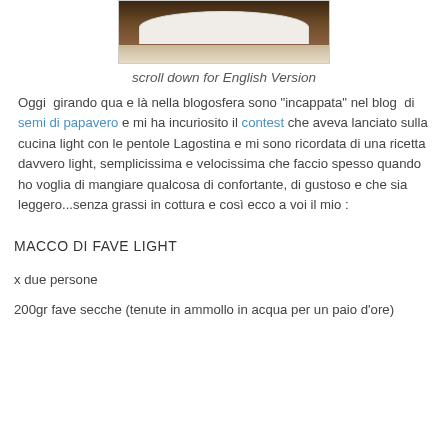[Figure (photo): Photo of a white ceramic plate with floral decoration on a dark woven surface, partially cropped]
scroll down for English Version
Oggi girando qua e là nella blogosfera sono "incappata" nel blog di semi di papavero e mi ha incuriosito il contest che aveva lanciato sulla cucina light con le pentole Lagostina e mi sono ricordata di una ricetta davvero light, semplicissima e velocissima che faccio spesso quando ho voglia di mangiare qualcosa di confortante, di gustoso e che sia leggero...senza grassi in cottura e così ecco a voi il mio :
MACCO DI FAVE LIGHT
x due persone
200gr fave secche (tenute in ammollo in acqua per un paio d'ore)